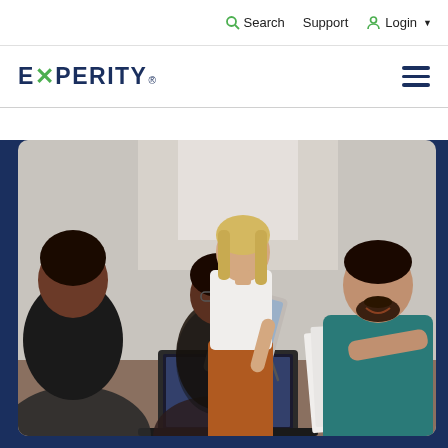Search  Support  Login
EXPERITY®
[Figure (photo): Three colleagues gathered around a table with a laptop and documents. A blonde woman in a white blouse and orange skirt stands and points at a tablet, while a woman with glasses and dark hair and a man in a teal shirt look on.]